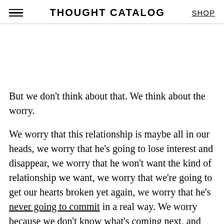THOUGHT CATALOG | SHOP
But we don't think about that. We think about the worry.
We worry that this relationship is maybe all in our heads, we worry that he's going to lose interest and disappear, we worry that he won't want the kind of relationship we want, we worry that we're going to get our hearts broken yet again, we worry that he's never going to commit in a real way. We worry because we don't know what's coming next, and that's scary!
So we keep our guards up, we keep a close eye on anything that could maybe possibly be a bad sign, we are hyper-